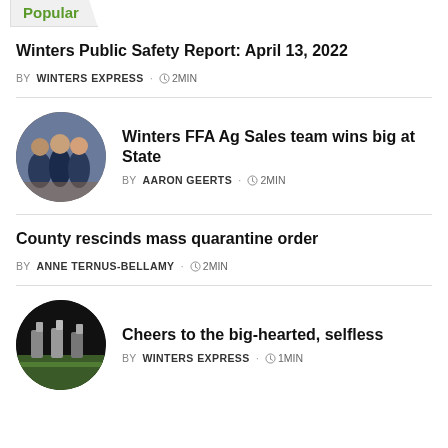Popular
Winters Public Safety Report: April 13, 2022
BY WINTERS EXPRESS · 2MIN
[Figure (photo): Circular photo of FFA students in blue jackets]
Winters FFA Ag Sales team wins big at State
BY AARON GEERTS · 2MIN
County rescinds mass quarantine order
BY ANNE TERNUS-BELLAMY · 2MIN
[Figure (photo): Circular dark photo of trophies/awards]
Cheers to the big-hearted, selfless
BY WINTERS EXPRESS · 1MIN